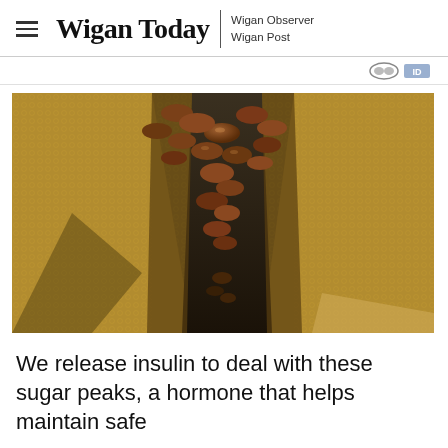Wigan Today | Wigan Observer Wigan Post
[Figure (photo): Industrial chocolate production machinery — gold textured metal funnel/conveyor with dark chocolate discs/chips falling through the centre channel]
We release insulin to deal with these sugar peaks, a hormone that helps maintain safe